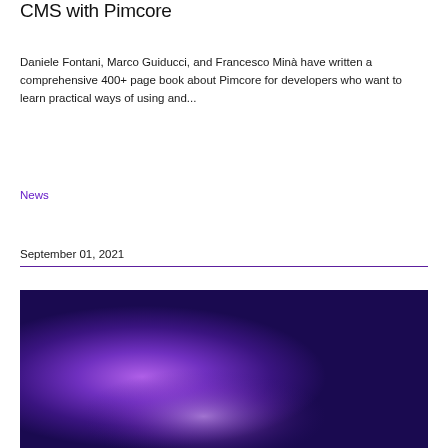CMS with Pimcore
Daniele Fontani, Marco Guiducci, and Francesco Minà have written a comprehensive 400+ page book about Pimcore for developers who want to learn practical ways of using and...
News
September 01, 2021
[Figure (photo): Purple and dark blue gradient background image, glowing purple orb-like light in the center-left area]